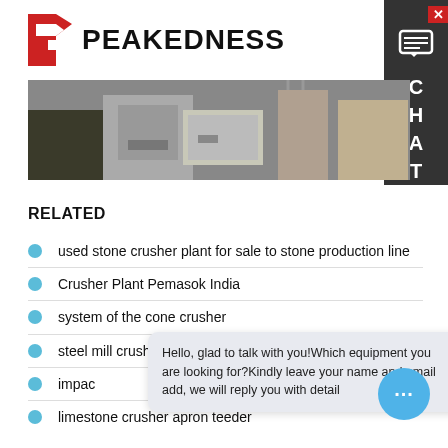[Figure (logo): Peakedness company logo with red arrow/P icon and bold black PEAKEDNESS text]
[Figure (photo): Industrial construction site or crusher plant with machinery and equipment visible]
RELATED
used stone crusher plant for sale to stone production line
Crusher Plant Pemasok India
system of the cone crusher
steel mill crusher
impac
limestone crusher apron teeder
Hello, glad to talk with you!Which equipment you are looking for?Kindly leave your name and email add, we will reply you with detail